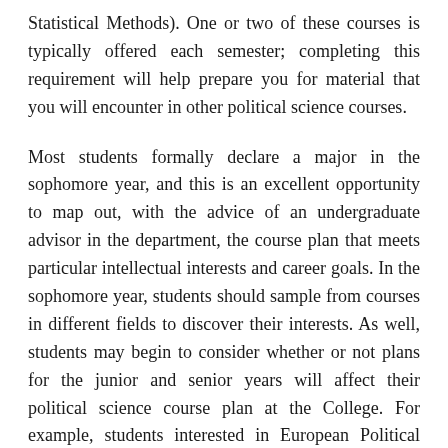Statistical Methods). One or two of these courses is typically offered each semester; completing this requirement will help prepare you for material that you will encounter in other political science courses.
Most students formally declare a major in the sophomore year, and this is an excellent opportunity to map out, with the advice of an undergraduate advisor in the department, the course plan that meets particular intellectual interests and career goals. In the sophomore year, students should sample from courses in different fields to discover their interests. As well, students may begin to consider whether or not plans for the junior and senior years will affect their political science course plan at the College. For example, students interested in European Political Internships may wish to choose, for the sophomore year, only courses that satisfy field requirements, in the expectation that some courses taken while in Europe will be counted among